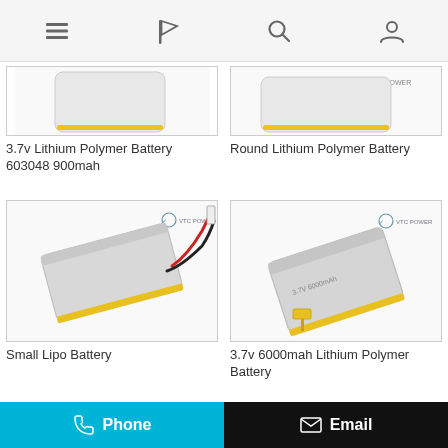Navigation bar with menu, flag, search, and user icons
[Figure (photo): 3.7v Lithium Polymer Battery 603048 900mah product image (partially visible, top of page)]
[Figure (photo): Round Lithium Polymer Battery product image (partially visible, top of page)]
3.7v Lithium Polymer Battery 603048 900mah
Round Lithium Polymer Battery
[Figure (photo): Small Lipo Battery product photo with VTC POWER logo — rectangular silver battery with yellow and red wires]
[Figure (photo): 3.7v 6000mah Lithium Polymer Battery product photo with VTC POWER logo — rectangular silver battery with yellow connector]
Small Lipo Battery
3.7v 6000mah Lithium Polymer Battery
Phone | Email